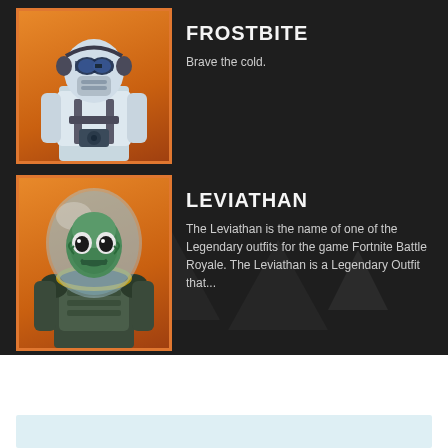[Figure (illustration): Frostbite character - a cold weather soldier in white winter gear with goggles and headphones, standing against an orange background]
FROSTBITE
Brave the cold.
[Figure (illustration): Leviathan character - an alien fish creature inside a large glass dome helmet, wearing military-style armor, against an orange background]
LEVIATHAN
The Leviathan is the name of one of the Legendary outfits for the game Fortnite Battle Royale. The Leviathan is a Legendary Outfit that...